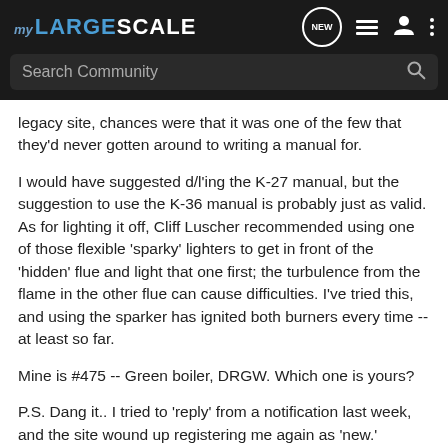MY LARGE SCALE — Search Community — nav icons
legacy site, chances were that it was one of the few that they'd never gotten around to writing a manual for.
I would have suggested d/l'ing the K-27 manual, but the suggestion to use the K-36 manual is probably just as valid. As for lighting it off, Cliff Luscher recommended using one of those flexible 'sparky' lighters to get in front of the 'hidden' flue and light that one first; the turbulence from the flame in the other flue can cause difficulties. I've tried this, and using the sparker has ignited both burners every time -- at least so far.
Mine is #475 -- Green boiler, DRGW. Which one is yours?
P.S. Dang it.. I tried to 'reply' from a notification last week, and the site wound up registering me again as 'new.' Apparently,